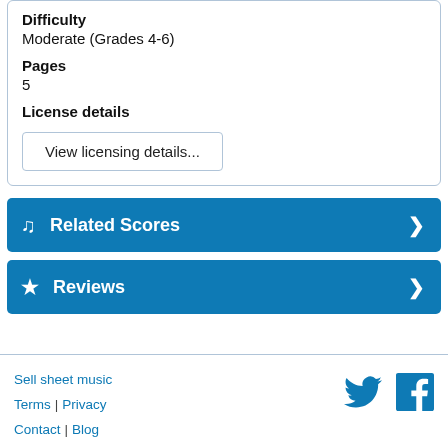Difficulty
Moderate (Grades 4-6)
Pages
5
License details
View licensing details...
Related Scores
Reviews
Sell sheet music | Terms | Privacy | Contact | Blog | Advertise | Help